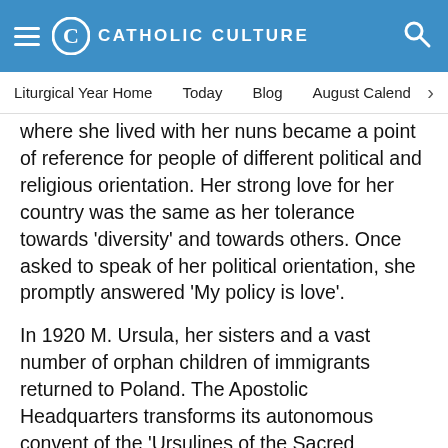CATHOLIC CULTURE
Liturgical Year Home   Today   Blog   August Calendar
where she lived with her nuns became a point of reference for people of different political and religious orientation. Her strong love for her country was the same as her tolerance towards 'diversity' and towards others. Once asked to speak of her political orientation, she promptly answered 'My policy is love'.
In 1920 M. Ursula, her sisters and a vast number of orphan children of immigrants returned to Poland. The Apostolic Headquarters transforms its autonomous convent of the 'Ursulines of the Sacred Agonising Heart of Jesus' The spirituality of the congregation is concentrated on the contemplation of the salvific love of Christ and participation in His mission by means of educational projects and service to others, particularly to the suffering, the lonely and